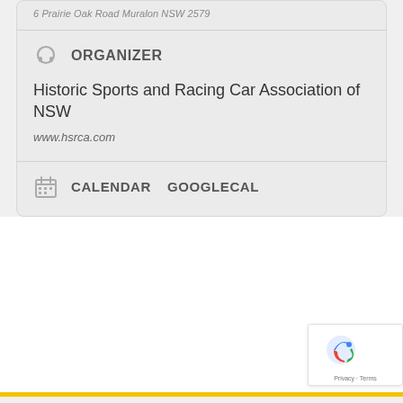6 Prairie Oak Road Murdlan NSW 2579
ORGANIZER
Historic Sports and Racing Car Association of NSW
www.hsrca.com
CALENDAR   GOOGLECAL
[Figure (other): reCAPTCHA widget with Privacy and Terms links]